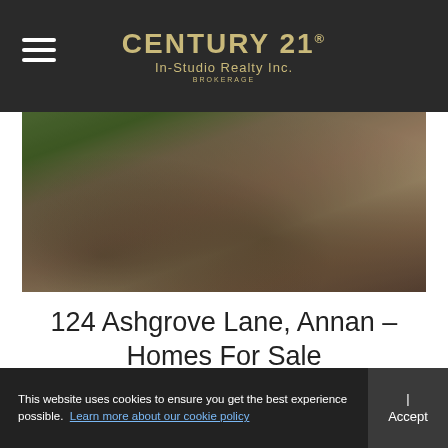CENTURY 21 In-Studio Realty Inc. BROKERAGE
[Figure (photo): Outdoor property photo showing a driveway or ground area with shadows from trees, brown and sandy tones with green foliage in background.]
124 Ashgrove Lane, Annan – Homes For Sale
By InStudio Admin | Jul 22, 2022
124 Ashgrove Lane, Annan Homes For Sale This home could have one of the best waterfronts on the market today. Welcome to 124 Ashgrove lane, located in an upscale waterfront neighbourhood, filled with prestigious homes, here
This website uses cookies to ensure you get the best experience possible. Learn more about our cookie policy | Accept